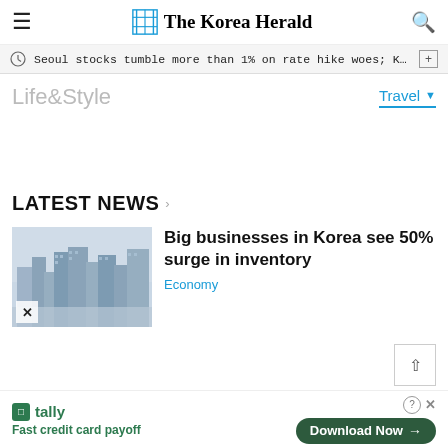The Korea Herald
Seoul stocks tumble more than 1% on rate hike woes; Korean w···
Life&Style
Travel
LATEST NEWS
[Figure (photo): Aerial view of Seoul city skyline with tall buildings]
Big businesses in Korea see 50% surge in inventory
Economy
Fast credit card payoff
Download Now